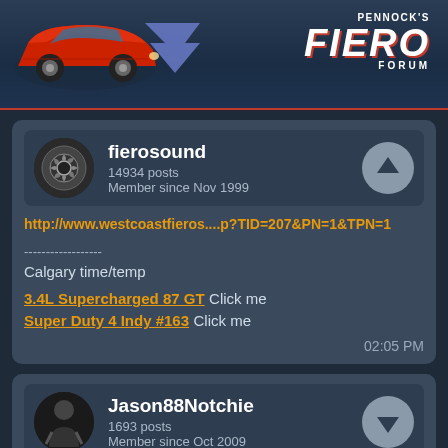[Figure (screenshot): Pennock's Fiero Forum logo header with red Fiero car image on the left and stylized FIERO FORUM text with chevron logo on the right]
fierosound
14934 posts
Member since Nov 1999
http://www.westcoastfieros....p?TID=207&PN=1&TPN=1
------------------
Calgary time/temp
3.4L Supercharged 87 GT Click me
Super Duty 4 Indy #163 Click me
02:05 PM
Jason88Notchie
1693 posts
Member since Oct 2009